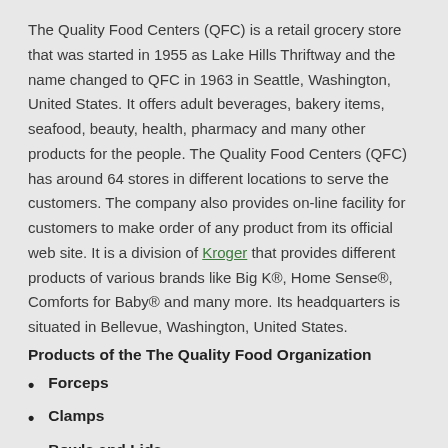The Quality Food Centers (QFC) is a retail grocery store that was started in 1955 as Lake Hills Thriftway and the name changed to QFC in 1963 in Seattle, Washington, United States. It offers adult beverages, bakery items, seafood, beauty, health, pharmacy and many other products for the people. The Quality Food Centers (QFC) has around 64 stores in different locations to serve the customers. The company also provides on-line facility for customers to make order of any product from its official web site. It is a division of Kroger that provides different products of various brands like Big K®, Home Sense®, Comforts for Baby® and many more. Its headquarters is situated in Bellevue, Washington, United States.
Products of the The Quality Food Organization
Forceps
Clamps
Bowls and Lids
Sponge Sticks